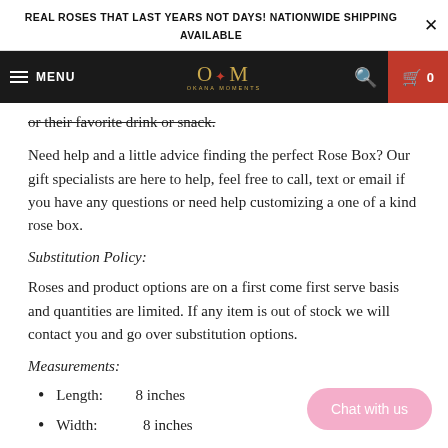REAL ROSES THAT LAST YEARS NOT DAYS! NATIONWIDE SHIPPING AVAILABLE
MENU | OM (Okana Moments) | Search | Cart 0
or their favorite drink or snack.
Need help and a little advice finding the perfect Rose Box? Our gift specialists are here to help, feel free to call, text or email if you have any questions or need help customizing a one of a kind rose box.
Substitution Policy:
Roses and product options are on a first come first serve basis and quantities are limited. If any item is out of stock we will contact you and go over substitution options.
Measurements:
Length:   8 inches
Width:    8 inches